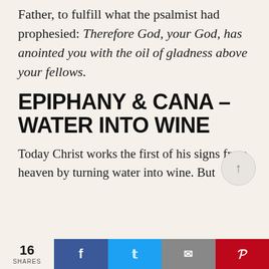Father, to fulfill what the psalmist had prophesied: Therefore God, your God, has anointed you with the oil of gladness above your fellows.
EPIPHANY & CANA – WATER INTO WINE
Today Christ works the first of his signs from heaven by turning water into wine. But
16 SHARES  f  [twitter]  [email]  p